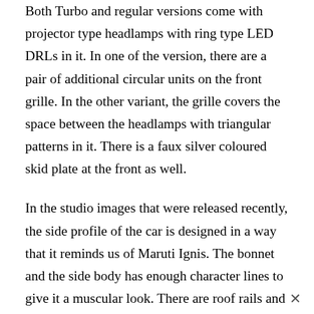Both Turbo and regular versions come with projector type headlamps with ring type LED DRLs in it. In one of the version, there are a pair of additional circular units on the front grille. In the other variant, the grille covers the space between the headlamps with triangular patterns in it. There is a faux silver coloured skid plate at the front as well.
In the studio images that were released recently, the side profile of the car is designed in a way that it reminds us of Maruti Ignis. The bonnet and the side body has enough character lines to give it a muscular look. There are roof rails and the higher variants will also offer an electric sunroof. We are not sure whether the Indian version will also be getting alloy wheels with same pattern as the international versions.